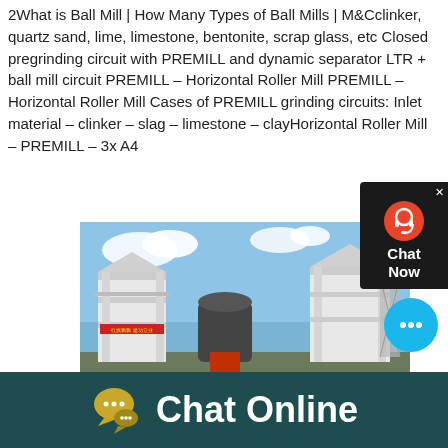2What is Ball Mill | How Many Types of Ball Mills | M&Cclinker, quartz sand, lime, limestone, bentonite, scrap glass, etc Closed pregrinding circuit with PREMILL and dynamic separator LTR + ball mill circuit PREMILL – Horizontal Roller Mill PREMILL – Horizontal Roller Mill Cases of PREMILL grinding circuits: Inlet material – clinker – slag – limestone – clayHorizontal Roller Mill – PREMILL – 3x A4
[Figure (photo): Industrial grinding mill installation with two white concrete structures and a vertical roller mill in center, blue sky background.]
[Figure (infographic): Chat widget overlay in top-right: dark background with headset icon and 'Chat Now' label.]
[Figure (infographic): Floating round cyan chat bubble with ellipsis icon, bottom right.]
[Figure (infographic): Bottom bar with dark teal background, chat bubble icon, and 'Chat Online' text in white.]